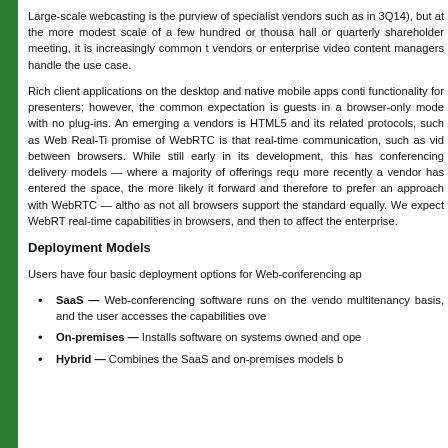Large-scale webcasting is the purview of specialist vendors such as (acquired in 3Q14), but at the more modest scale of a few hundred or thousands for a town hall or quarterly shareholder meeting, it is increasingly common to see collaboration vendors or enterprise video content managers handle the use case.
Rich client applications on the desktop and native mobile apps continue to offer full functionality for presenters; however, the common expectation is to support guests in a browser-only mode with no plug-ins. An emerging area of focus for vendors is HTML5 and its related protocols, such as Web Real-Time. The promise of WebRTC is that real-time communication, such as video, can occur between browsers. While still early in its development, this has affected web conferencing delivery models — where a majority of offerings require plug-ins — more recently a vendor has entered the space, the more likely it is to look forward and therefore to prefer an approach with WebRTC — although this is tricky as not all browsers support the standard equally. We expect WebRTC to first enable real-time capabilities in browsers, and then to affect the enterprise.
Deployment Models
Users have four basic deployment options for Web-conferencing ap
SaaS — Web-conferencing software runs on the vendor on a multitenancy basis, and the user accesses the capabilities over
On-premises — Installs software on systems owned and ope
Hybrid — Combines the SaaS and on-premises models b